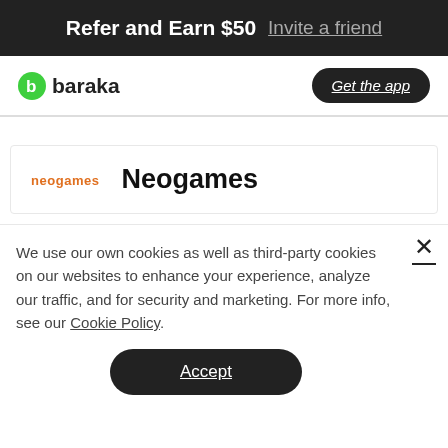Refer and Earn $50  Invite a friend
[Figure (logo): Baraka logo — green circle icon with letter b, followed by 'baraka' in bold black text]
Get the app
[Figure (logo): Neogames logo — orange lowercase 'neogames' text]
Neogames
We use our own cookies as well as third-party cookies on our websites to enhance your experience, analyze our traffic, and for security and marketing. For more info, see our Cookie Policy.
Accept